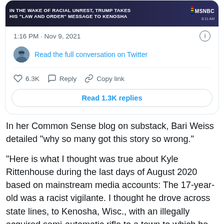[Figure (screenshot): Screenshot of a tweet card showing an MSNBC news banner headline 'IN THE WAKE OF RACIAL UNREST, TRUMP TAKES HIS LAW AND ORDER MESSAGE TO KENOSHA', timestamp '1:16 PM · Nov 9, 2021', a 'Read the full conversation on Twitter' link, like count 6.3K, Reply, Copy link actions, and a 'Read 1.3K replies' button.]
In her Common Sense blog on substack, Bari Weiss detailed “why so many got this story so wrong.”
“Here is what I thought was true about Kyle Rittenhouse during the last days of August 2020 based on mainstream media accounts: The 17-year-old was a racist vigilante. I thought he drove across state lines, to Kenosha, Wisc., with an illegally acquired semi-automatic rifle to a town to which he had no connection. I thought he went there because he knew there were Black Lives Matter protests and he wanted